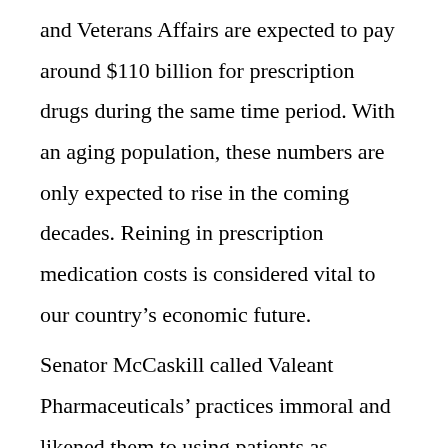and Veterans Affairs are expected to pay around $110 billion for prescription drugs during the same time period. With an aging population, these numbers are only expected to rise in the coming decades. Reining in prescription medication costs is considered vital to our country's economic future.

Senator McCaskill called Valeant Pharmaceuticals' practices immoral and likened them to using patients as hostages. While pharmaceutical manufacturers like to portray themselves as altruistic entities that want to cure people of diseases, in truth, they are most concerned with making the largest profit possible